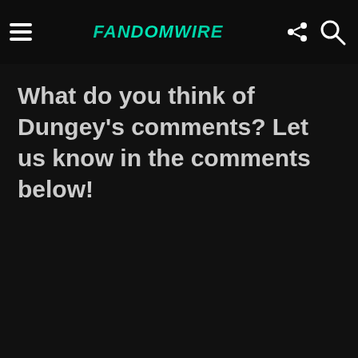FandomWire
What do you think of Dungey's comments? Let us know in the comments below!